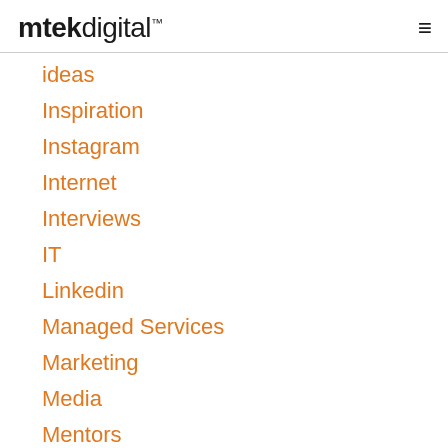mtek digital™
ideas
Inspiration
Instagram
Internet
Interviews
IT
Linkedin
Managed Services
Marketing
Media
Mentors
Mobile Design
Network
Off Page SEO